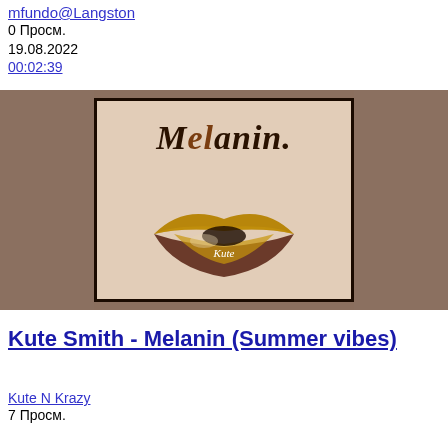mfundo@Langston
0 Просм.
19.08.2022
00:02:39
[Figure (illustration): Album art thumbnail for 'Melanin' by Kute Smith. Shows a beige/cream fur-textured square with dark brown cursive text 'Melanin.' and a stylized two-toned lips graphic in brown and gold shades with the word 'Kute' inscribed. The thumbnail is centered on a blurred brownish background.]
Kute Smith - Melanin (Summer vibes)
Kute N Krazy
7 Просм.